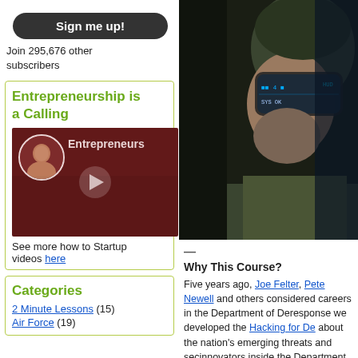[Figure (other): Dark rounded button labeled 'Sign me up!']
Join 295,676 other subscribers
Entrepreneurship is a Calling
[Figure (screenshot): YouTube-style video thumbnail with speaker and 'Entrepreneurs' label and play button]
See more how to Startup videos here
Categories
2 Minute Lessons (15)
Air Force (19)
[Figure (photo): Military soldier wearing augmented reality goggles with HUD display]
—
Why This Course?
Five years ago, Joe Felter, Pete Newell and others considered careers in the Department of Defense. In response we developed the Hacking for Defense about the nation's emerging threats and secondly to grow innovators inside the Department of Defense who can solve real national security problems. Today, and universities teaching Hacking for Defense entrepreneurial students who understand th...